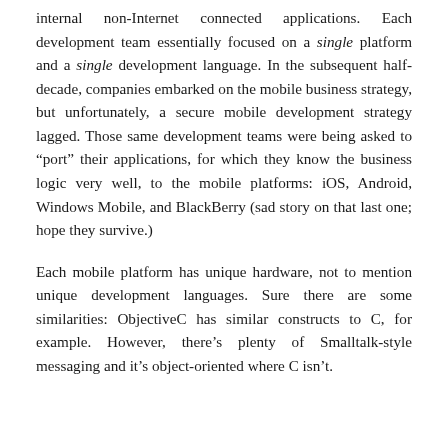internal non-Internet connected applications. Each development team essentially focused on a single platform and a single development language. In the subsequent half-decade, companies embarked on the mobile business strategy, but unfortunately, a secure mobile development strategy lagged. Those same development teams were being asked to “port” their applications, for which they know the business logic very well, to the mobile platforms: iOS, Android, Windows Mobile, and BlackBerry (sad story on that last one; hope they survive.)
Each mobile platform has unique hardware, not to mention unique development languages. Sure there are some similarities: ObjectiveC has similar constructs to C, for example. However, there’s plenty of Smalltalk-style messaging and it’s object-oriented where C isn’t.